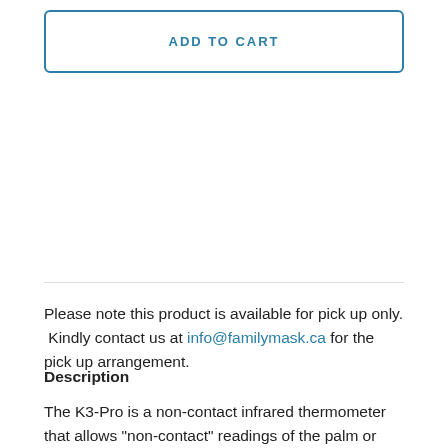ADD TO CART
Please note this product is available for pick up only. Kindly contact us at info@familymask.ca for the pick up arrangement.
Description
The K3-Pro is a non-contact infrared thermometer that allows “non-contact” readings of the palm or forehead at a distance of about 5 cm to 10 cm from the sensor. An individual is not required to assist the temperature